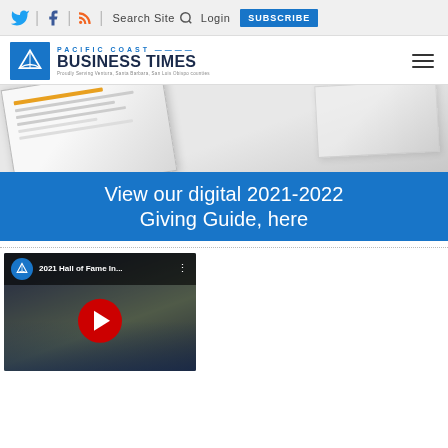Twitter | Facebook | RSS | Search Site | Login | SUBSCRIBE
[Figure (logo): Pacific Coast Business Times logo with sailboat badge]
[Figure (photo): Banner image showing a printed newspaper/magazine page]
View our digital 2021-2022 Giving Guide, here
[Figure (screenshot): YouTube video thumbnail for '2021 Hall of Fame In...' with play button and crowd background]